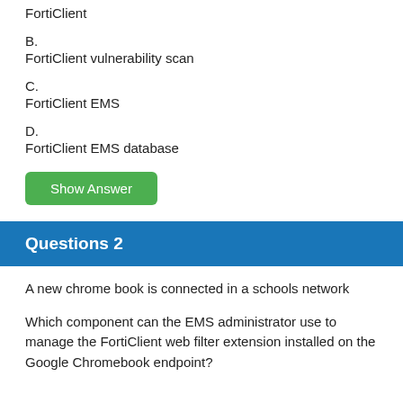FortiClient
B.
FortiClient vulnerability scan
C.
FortiClient EMS
D.
FortiClient EMS database
Show Answer
Questions 2
A new chrome book is connected in a schools network
Which component can the EMS administrator use to manage the FortiClient web filter extension installed on the Google Chromebook endpoint?